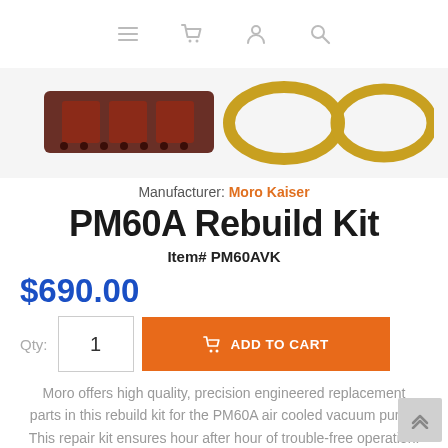[Figure (screenshot): E-commerce website navigation bar with menu, cart, user, and search icons]
[Figure (photo): Product images showing PM60A rebuild kit gaskets — dark rectangular gasket and two gold/copper ring gaskets]
Manufacturer: Moro Kaiser
PM60A Rebuild Kit
Item# PM60AVK
$690.00
Qty: 1  ADD TO CART
Moro offers high quality, precision engineered replacement parts in this rebuild kit for the PM60A air cooled vacuum pump. This repair kit ensures hour after hour of trouble-free operation.